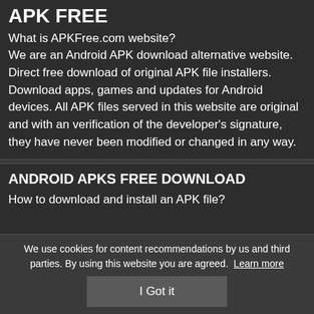APK FREE
What is APKFree.com website?
We are an Android APK download alternative website. Direct free download of original APK file installers. Download apps, games and updates for Android devices. All APK files served in this website are original and with an verification of the developer's signature, they have never been modified or changed in any way.
ANDROID APKS FREE DOWNLOAD
How to download and install an APK file?
We use cookies for content recommendations by us and third parties. By using this website you are agreed. Learn more
I Got it